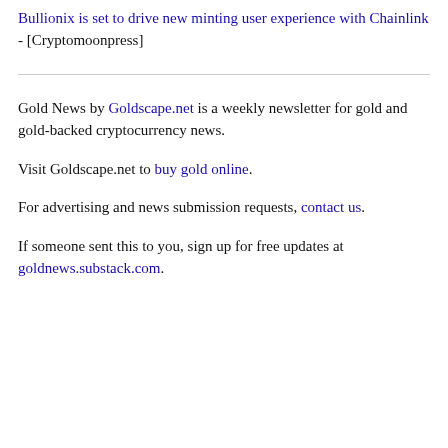Bullionix is set to drive new minting user experience with Chainlink - [Cryptomoonpress]
Gold News by Goldscape.net is a weekly newsletter for gold and gold-backed cryptocurrency news.
Visit Goldscape.net to buy gold online.
For advertising and news submission requests, contact us.
If someone sent this to you, sign up for free updates at goldnews.substack.com.